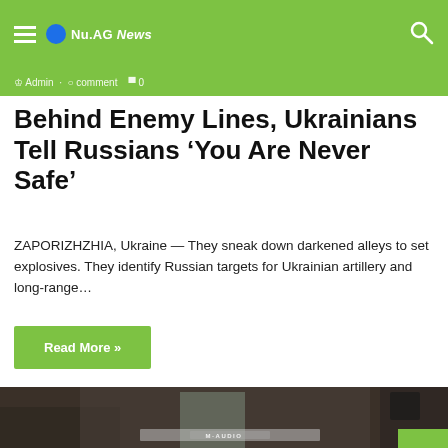Nu.AG News
Behind Enemy Lines, Ukrainians Tell Russians 'You Are Never Safe'
ZAPORIZHZHIA, Ukraine — They sneak down darkened alleys to set explosives. They identify Russian targets for Ukrainian artillery and long-range…
Read More »
[Figure (photo): A woman playing an M-AUDIO keyboard in what appears to be a war-damaged outdoor setting with rubble and other people in the background.]